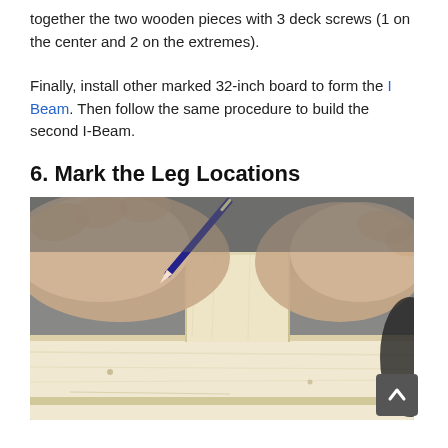together the two wooden pieces with 3 deck screws (1 on the center and 2 on the extremes).
Finally, install other marked 32-inch board to form the I Beam. Then follow the same procedure to build the second I-Beam.
6. Mark the Leg Locations
[Figure (photo): Hands marking a wooden I-beam with a pencil/marker on a metal work surface. One hand holds the pencil vertically while the other steadies the wood.]
...